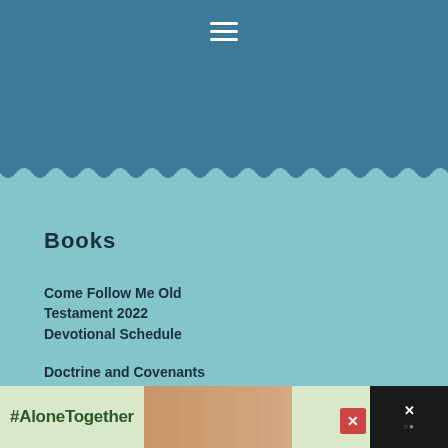[Figure (other): Navigation hamburger menu icon (three horizontal white lines) on a teal/steel blue header background]
Books
Come Follow Me Old Testament 2022 Devotional Schedule
Doctrine and Covenants Copywork
Come Follow Me Doctrine and Covenants Devotional Schedule
[Figure (infographic): Advertisement banner: #AloneTogether with image of people and close button]